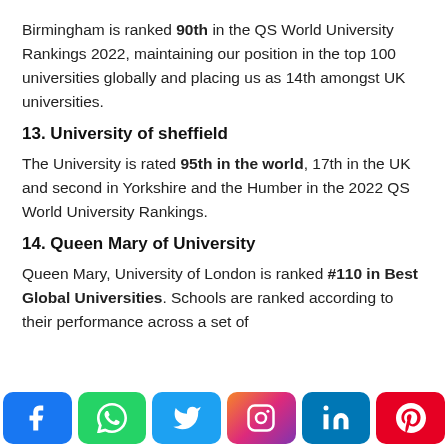Birmingham is ranked 90th in the QS World University Rankings 2022, maintaining our position in the top 100 universities globally and placing us as 14th amongst UK universities.
13. University of sheffield
The University is rated 95th in the world, 17th in the UK and second in Yorkshire and the Humber in the 2022 QS World University Rankings.
14. Queen Mary of University
Queen Mary, University of London is ranked #110 in Best Global Universities. Schools are ranked according to their performance across a set of
[Figure (infographic): Social media share buttons: Facebook (blue), WhatsApp (green), Twitter (light blue), Instagram (gradient), LinkedIn (dark blue), Pinterest (red)]